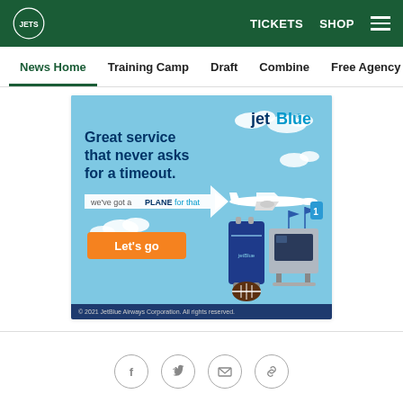New York Jets — TICKETS SHOP navigation header
News Home | Training Camp | Draft | Combine | Free Agency | Fe
[Figure (illustration): JetBlue advertisement: light blue background with clouds and airplane illustration. Text: 'Great service that never asks for a timeout.' with 'jetBlue' logo. Banner reads 'we've got a PLANE for that'. Orange button 'Let's go'. Luggage and TV/cooler football tailgate items illustrated at bottom right. Footer: '© 2021 JetBlue Airways Corporation. All rights reserved.']
Social share icons: Facebook, Twitter, Email, Link